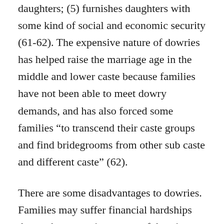daughters; (5) furnishes daughters with some kind of social and economic security (61-62). The expensive nature of dowries has helped raise the marriage age in the middle and lower caste because families have not been able to meet dowry demands, and has also forced some families “to transcend their caste groups and find bridegrooms from other sub caste and different caste” (62).
There are some disadvantages to dowries. Families may suffer financial hardships due to the expensive nature of dowries. They may not be able to afford dowries, therefore prohibiting their children from marriage, causing “girls to occasionally commit suicide in order to rid their fathers of financial